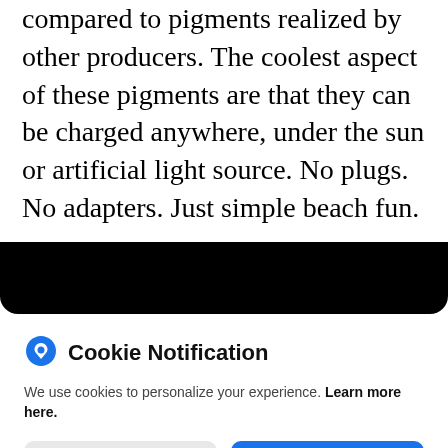compared to pigments realized by other producers. The coolest aspect of these pigments are that they can be charged anywhere, under the sun or artificial light source. No plugs. No adapters. Just simple beach fun.
[Figure (other): Black bar / image strip with rounded bottom corners overlaid on page]
Cookie Notification
We use cookies to personalize your experience. Learn more here.
I Don't Accept
I Accept